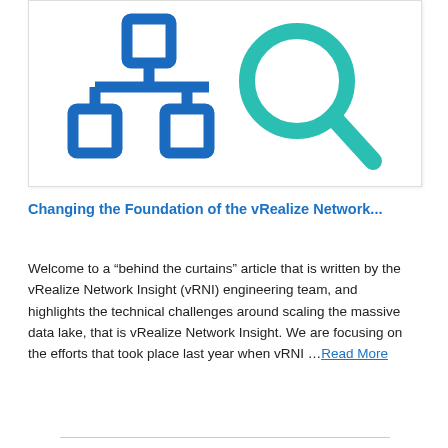[Figure (logo): Illustration showing blue network/hierarchy icon shapes on the left and a teal magnifying glass icon on the right, on a white card with subtle border]
Changing the Foundation of the vRealize Network...
Welcome to a “behind the curtains” article that is written by the vRealize Network Insight (vRNI) engineering team, and highlights the technical challenges around scaling the massive data lake, that is vRealize Network Insight. We are focusing on the efforts that took place last year when vRNI …Read More